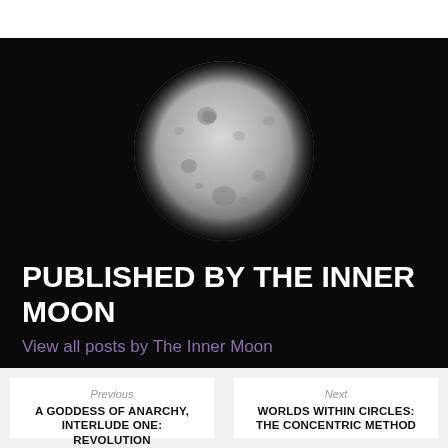[Figure (photo): Full moon photograph against black background, showing detailed lunar surface with craters and mare regions]
PUBLISHED BY THE INNER MOON
View all posts by The Inner Moon
Previous
A GODDESS OF ANARCHY, INTERLUDE ONE: REVOLUTION
Next
WORLDS WITHIN CIRCLES: THE CONCENTRIC METHOD